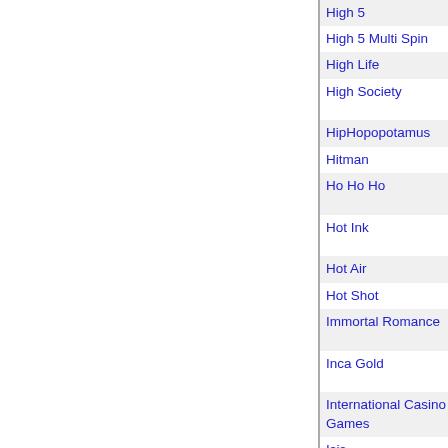| Game Name | Description |
| --- | --- |
| High 5 | 3 Reel Slot. |
| High 5 Multi Spin | 3 Reel per game Multi Spin |
| High Life | 5 Reel 5 Payline Vide |
| High Society | 5 Reel, 25 Payline Vid Bonus Feature |
| HipHopopotamus | 3 Reels, 1 Payline Vid |
| Hitman | 5 Reel 15 Payline Vid |
| Ho Ho Ho | 5 Reel, 15 Payline Vid and gamble. |
| Hot Ink | 5 Reel, 1024 ways to w and Bonus Game |
| Hot Air | 5 Reel, 30 Payline Vid |
| Hot Shot | 5 Reel, 9 Payline Vid |
| Immortal Romance | 5 Reel, 243Ways to W Spins Feature. |
| Inca Gold | 5 Reel 20 Payline Vid spins. |
| International Casino Games | 5 Reel, 9 Payline Vid Gamble Bonus Games |
| Isis | 5 Reel, 25 Payline Vid Game. |
| Island Style | 3 Reel Slot. |
| Jackpot Express | 3 Reel, 5 Payline Slot. |
| Jester's Jackpot | 3 Reel Slot. |
| Jet Set | 3 Reel Slot. |